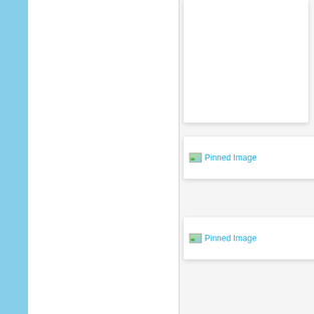[Figure (screenshot): Web page layout with a light blue sidebar on the left, a white main content panel in the center, a vertical divider, and a right panel containing a top card area and two pinned image placeholder cards labeled 'Pinned Image']
[Figure (screenshot): First pinned image placeholder card with broken image icon and text 'Pinned Image' in teal/cyan color]
[Figure (screenshot): Second pinned image placeholder card with broken image icon and text 'Pinned Image' in teal/cyan color]